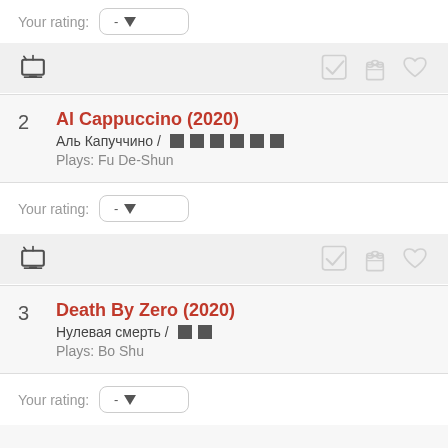Your rating: -
[Figure (illustration): Icon bar with TV icon, checkmark, popcorn bucket, and heart icons (partially visible top)]
2 Al Cappuccino (2020) / Аль Капуччино / [censored] / Plays: Fu De-Shun
Your rating: -
[Figure (illustration): Icon bar with TV icon, checkmark, popcorn bucket, and heart icons]
3 Death By Zero (2020) / Нулевая смерть / [censored] / Plays: Bo Shu
Your rating: -